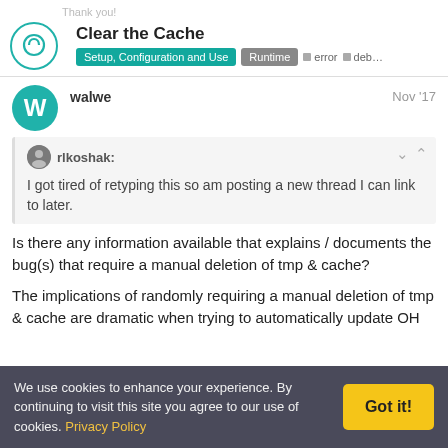Clear the Cache | Setup, Configuration and Use | Runtime | error | deb...
walwe
Nov '17
rlkoshak: I got tired of retyping this so am posting a new thread I can link to later.
Is there any information available that explains / documents the bug(s) that require a manual deletion of tmp & cache?
The implications of randomly requiring a manual deletion of tmp & cache are dramatic when trying to automatically update OH
We use cookies to enhance your experience. By continuing to visit this site you agree to our use of cookies. Privacy Policy